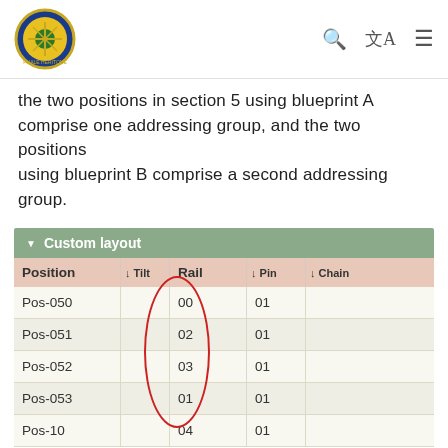Navigation bar with logo and icons
the two positions in section 5 using blueprint A comprise one addressing group, and the two positions using blueprint B comprise a second addressing group.
| Position | ↓ Tilt | Rail | ↓ Pin | ↓ Chain |
| --- | --- | --- | --- | --- |
| Pos-050 |  | 00 | 01 |  |
| Pos-051 |  | 02 | 01 |  |
| Pos-052 |  | 03 | 01 |  |
| Pos-053 |  | 01 | 01 |  |
| Pos-10 |  | 04 | 01 |  |